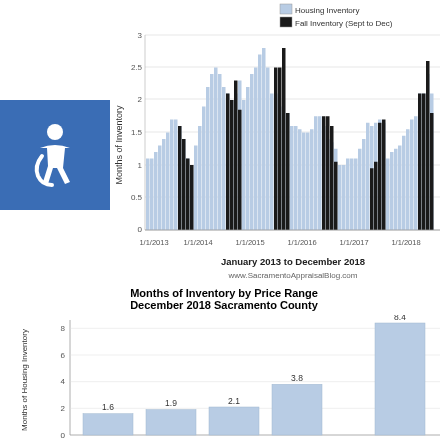[Figure (bar-chart): January 2013 to December 2018]
www.SacramentoAppraisalBlog.com
[Figure (bar-chart): Months of Inventory by Price Range December 2018 Sacramento County]